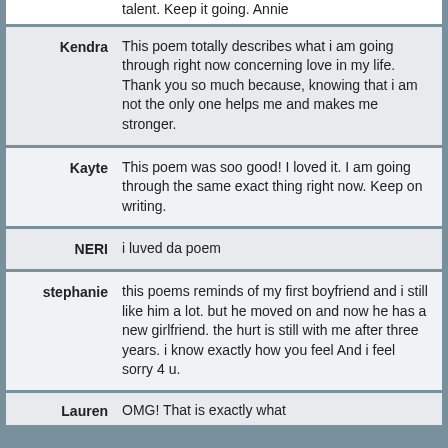talent. Keep it going. Annie
Kendra: This poem totally describes what i am going through right now concerning love in my life. Thank you so much because, knowing that i am not the only one helps me and makes me stronger.
Kayte: This poem was soo good! I loved it. I am going through the same exact thing right now. Keep on writing.
NERI: i luved da poem
stephanie: this poems reminds of my first boyfriend and i still like him a lot. but he moved on and now he has a new girlfriend. the hurt is still with me after three years. i know exactly how you feel And i feel sorry 4 u.
Lauren: OMG! That is exactly what